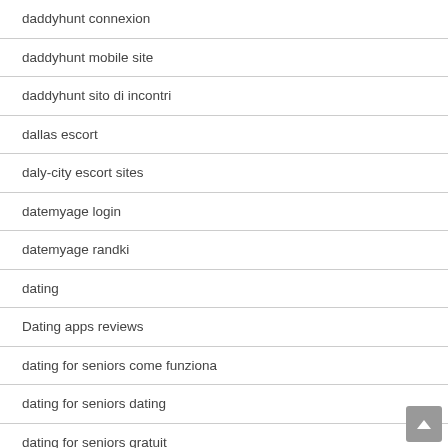daddyhunt connexion
daddyhunt mobile site
daddyhunt sito di incontri
dallas escort
daly-city escort sites
datemyage login
datemyage randki
dating
Dating apps reviews
dating for seniors come funziona
dating for seniors dating
dating for seniors gratuit
Dating Foreign Woman